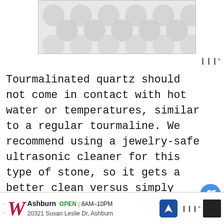[Figure (other): Top advertisement banner with decorative grey pattern/texture background]
Tourmalinated quartz should not come in contact with hot water or temperatures, similar to a regular tourmaline. We recommend using a jewelry-safe ultrasonic cleaner for this type of stone, so it gets a better clean versus simply handwashing with soap.
Magnasonic Professional Ultrasonic Jewelry Cleaner
This ultrasonic cleaner features a digital timer, uses only tap water, and has five
[Figure (other): Bottom advertisement bar for Walgreens: Ashburn OPEN 8AM-10PM, 20321 Susan Leslie Dr, Ashburn]